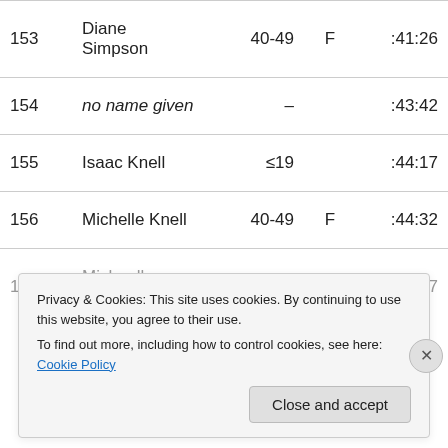| # | Name | Age | Sex | Time |
| --- | --- | --- | --- | --- |
| 153 | Diane Simpson | 40-49 | F | :41:26 |
| 154 | no name given | – |  | :43:42 |
| 155 | Isaac Knell | ≤19 |  | :44:17 |
| 156 | Michelle Knell | 40-49 | F | :44:32 |
| 157 | … | 30-39 | F | :44:37 |
Privacy & Cookies: This site uses cookies. By continuing to use this website, you agree to their use. To find out more, including how to control cookies, see here: Cookie Policy